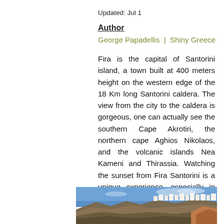Updated: Jul 1
Author
George Papadellis  |  Shiny Greece
Fira is the capital of Santorini island, a town built at 400 meters height on the western edge of the 18 Km long Santorini caldera. The view from the city to the caldera is gorgeous, one can actually see the southern Cape Akrotiri, the northern cape Aghios Nikolaos, and the volcanic islands Nea Kameni and Thirassia. Watching the sunset from Fira Santorini is a unique experience, especially in October and November when the sun sinks behind Nea Kameni.
[Figure (photo): Aerial/distant view of Fira, Santorini, showing white buildings on clifftops above rocky volcanic terrain, with blue sky above.]